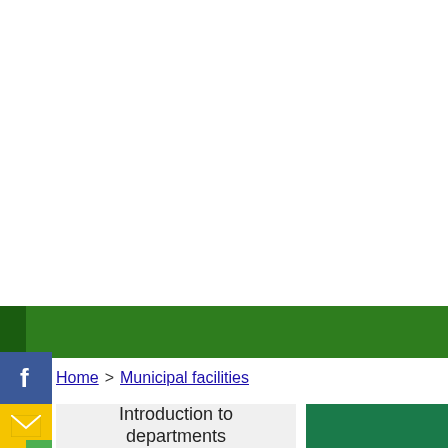[Figure (other): Green navigation bar spanning full width]
[Figure (logo): Facebook icon square blue logo]
Home > Municipal facilities
[Figure (logo): Email/mail icon yellow square]
Introduction to departments
[Figure (other): Dark green box on right side]